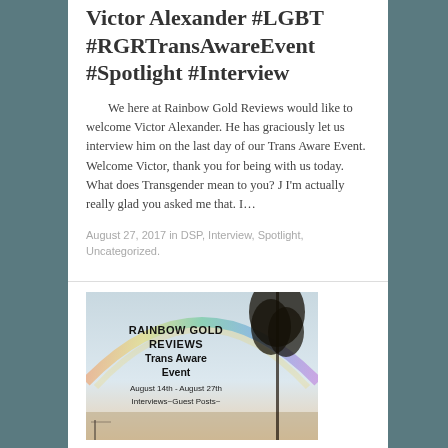Victor Alexander #LGBT #RGRTransAwareEvent #Spotlight #Interview
We here at Rainbow Gold Reviews would like to welcome Victor Alexander. He has graciously let us interview him on the last day of our Trans Aware Event. Welcome Victor, thank you for being with us today. What does Transgender mean to you? J I'm actually really glad you asked me that. I…
August 27, 2017 in DSP, Interview, Spotlight, Uncategorized.
[Figure (photo): Promotional image for Rainbow Gold Reviews Trans Aware Event, August 14th - August 27th, Interviews~Guest Posts~, with a rainbow in the background and tree silhouette on the right.]